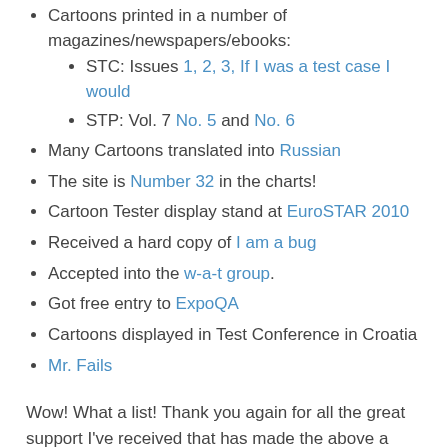Cartoons printed in a number of magazines/newspapers/ebooks:
STC: Issues 1, 2, 3, If I was a test case I would
STP: Vol. 7 No. 5 and No. 6
Many Cartoons translated into Russian
The site is Number 32 in the charts!
Cartoon Tester display stand at EuroSTAR 2010
Received a hard copy of I am a bug
Accepted into the w-a-t group.
Got free entry to ExpoQA
Cartoons displayed in Test Conference in Croatia
Mr. Fails
Wow! What a list! Thank you again for all the great support I've received that has made the above a reality.
Recently, a few people have asked when and why I started drawing cartoons about testing. I think some of them were asking 'Why? Why are you wasting your time drawing stupid